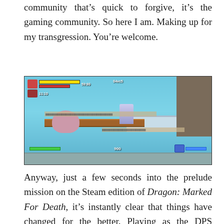community that’s quick to forgive, it’s the gaming community. So here I am. Making up for my transgression. You’re welcome.
[Figure (screenshot): Screenshot of Dragon: Marked For Death gameplay showing a character fighting enemies on wooden platforms in an icy cave environment. HUD displays health/mana bars, timer showing 59:80 and 04vc5, and score of 900.]
Anyway, just a few seconds into the prelude mission on the Steam edition of Dragon: Marked For Death, it’s instantly clear that things have changed for the better. Playing as the DPS Empress character, I find that I’m actually outputting